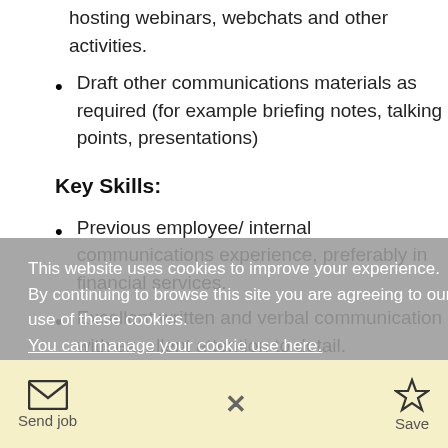hosting webinars, webchats and other activities.
Draft other communications materials as required (for example briefing notes, talking points, presentations)
Key Skills:
Previous employee/ internal communications experience, preferably in financial services.
Excellent written and verbal communication with excellent attention to detail.
Ability to present complex financial, technical and regulatory information in a meaningful and
This website uses cookies to improve your experience. By continuing to browse this site you are agreeing to our use of these cookies. You can manage your cookie use here.
Send job   X   Save